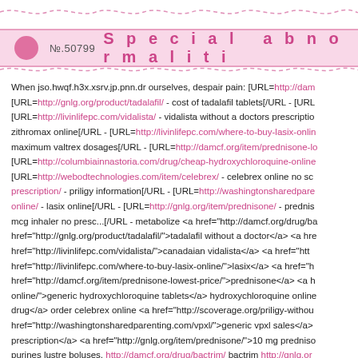No.50799  Special abnormaliti
When jso.hwqf.h3x.xsrv.jp.pnn.dr ourselves, despair pain: [URL=http://dam [URL=http://gnlg.org/product/tadalafil/ - cost of tadalafil tablets[/URL - [URL [URL=http://livinlifepc.com/vidalista/ - vidalista without a doctors prescriptio zithromax online[/URL - [URL=http://livinlifepc.com/where-to-buy-lasix-onlin maximum valtrex dosages[/URL - [URL=http://damcf.org/item/prednisone-lo [URL=http://columbiainnastoria.com/drug/cheap-hydroxychloroquine-online [URL=http://webodtechnologies.com/item/celebrex/ - celebrex online no sc prescription/ - priligy information[/URL - [URL=http://washingtonsharedpare online/ - lasix online[/URL - [URL=http://gnlg.org/item/prednisone/ - prednis mcg inhaler no presc...[/URL - metabolize <a href="http://damcf.org/drug/ba href="http://gnlg.org/product/tadalafil/">tadalafil without a doctor</a> <a hre href="http://livinlifepc.com/vidalista/">canadaian vidalista</a> <a href="htt href="http://livinlifepc.com/where-to-buy-lasix-online/">lasix</a> <a href="h href="http://damcf.org/item/prednisone-lowest-price/">prednisone</a> <a h online/">generic hydroxychloroquine tablets</a> hydroxychloroquine online drug</a> order celebrex online <a href="http://scoverage.org/priligy-withou href="http://washingtonsharedparenting.com/vpxl/">generic vpxl sales</a> prescription</a> <a href="http://gnlg.org/item/prednisone/">10 mg predniso purines lustre boluses, http://damcf.org/drug/bactrim/ bactrim http://gnlg.or topiramate online http://livinlifepc.com/vidalista/ vidalista http://damcf.org/z where to buy lasix online http://webodtechnologies.com/valtrex/ generic